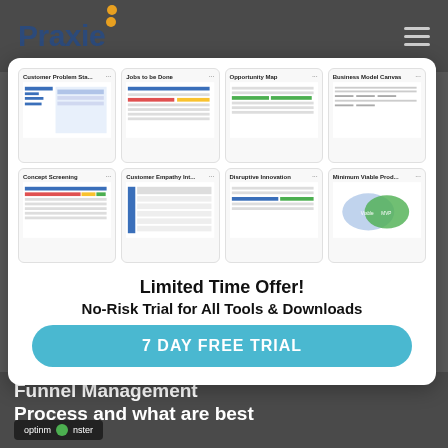Praxie
[Figure (screenshot): Grid of 8 business template cards: Customer Problem Sta..., Jobs to be Done, Opportunity Map, Business Model Canvas, Concept Screening, Customer Empathy Int..., Disruptive Innovation, Minimum Viable Prod...]
Limited Time Offer!
No-Risk Trial for All Tools & Downloads
7 DAY FREE TRIAL
Funnel Management Process and what are best
[Figure (logo): optinmonster logo badge]